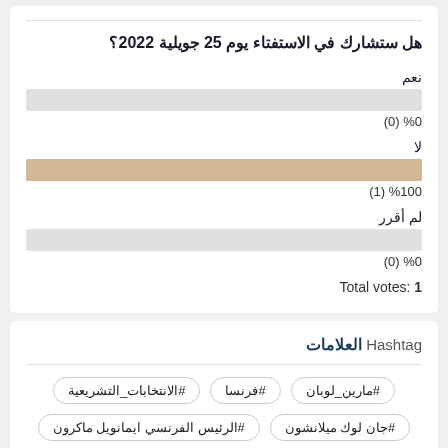هل ستشارك في الاستفتاء يوم 25 جويلية 2022؟
[Figure (bar-chart): هل ستشارك في الاستفتاء يوم 25 جويلية 2022؟]
Total votes: 1
Hashtag العلامات
#الانتخابات_التشريعية
#فرنسا
#مارين_لوبان
#الرئيس الفرنسي ايمانويل ماكرون
#جان لوك ميلانشون